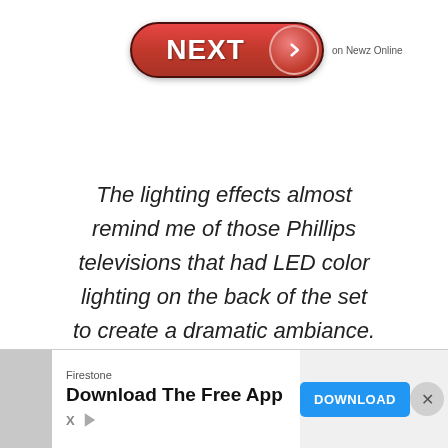[Figure (other): Red pill-shaped NEXT button with right-arrow circle icon, and text 'on Newz Online' to the right]
The lighting effects almost remind me of those Phillips televisions that had LED color lighting on the back of the set to create a dramatic ambiance.
[Figure (other): Advertisement bar: Firestone brand, 'Download The Free App' with blue DOWNLOAD button, X and play icons on left, close button on right]